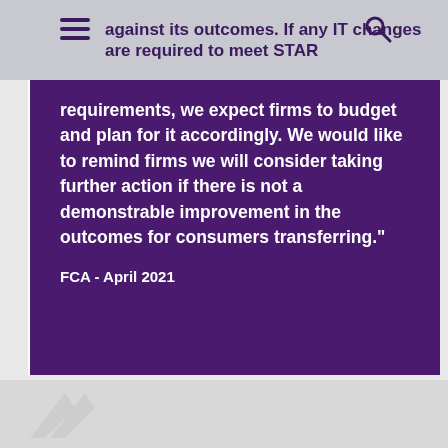against its outcomes. If any IT changes are required to meet STAR
requirements, we expect firms to budget and plan for it accordingly. We would like to remind firms we will consider taking further action if there is not a demonstrable improvement in the outcomes for consumers transferring." FCA - April 2021